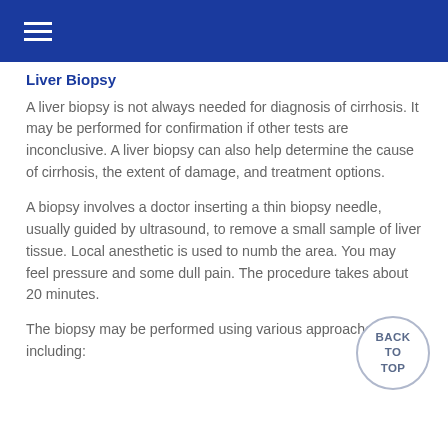Liver Biopsy
A liver biopsy is not always needed for diagnosis of cirrhosis. It may be performed for confirmation if other tests are inconclusive. A liver biopsy can also help determine the cause of cirrhosis, the extent of damage, and treatment options.
A biopsy involves a doctor inserting a thin biopsy needle, usually guided by ultrasound, to remove a small sample of liver tissue. Local anesthetic is used to numb the area. You may feel pressure and some dull pain. The procedure takes about 20 minutes.
The biopsy may be performed using various approaches, including: